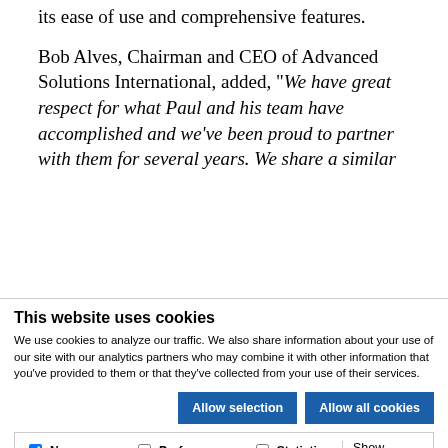its ease of use and comprehensive features.
Bob Alves, Chairman and CEO of Advanced Solutions International, added, "We have great respect for what Paul and his team have accomplished and we've been proud to partner with them for several years.  We share a similar
This website uses cookies
We use cookies to analyze our traffic. We also share information about your use of our site with our analytics partners who may combine it with other information that you've provided to them or that they've collected from your use of their services.
Allow selection | Allow all cookies | Necessary | Preferences | Statistics | Marketing | Show details